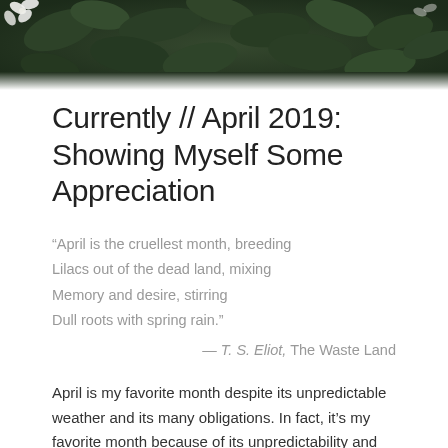[Figure (photo): Dark overhead photo of green leaves and white flowers against a dark background, used as hero/banner image at top of blog post page.]
Currently // April 2019: Showing Myself Some Appreciation
“April is the cruellest month, breeding
Lilacs out of the dead land, mixing
Memory and desire, stirring
Dull roots with spring rain.”
— T. S. Eliot, The Waste Land
April is my favorite month despite its unpredictable weather and its many obligations. In fact, it’s my favorite month because of its unpredictability and its obligations. There may still be blizzards and dreary days but April